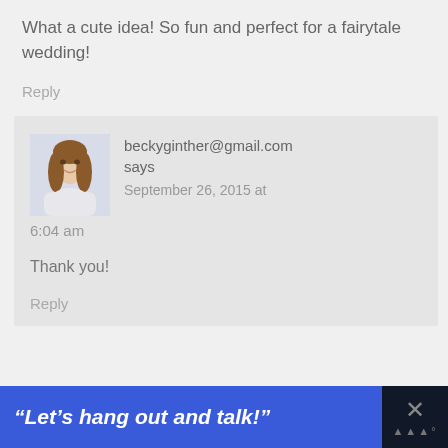What a cute idea! So fun and perfect for a fairytale wedding!
Reply
[Figure (photo): Avatar photo of a young woman with long brown hair wearing a white top, photographed outdoors with a light background.]
beckyginther@gmail.com says
September 26, 2015 at 6:04 am
Thank you!
Reply
“Let’s hang out and talk!”